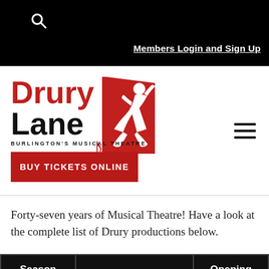Members Login and Sign Up
[Figure (logo): Drury Lane Burlington's Musical Theatre logo with red block and dancer silhouette, plus BUY TICKETS ONLINE button]
Forty-seven years of Musical Theatre!  Have a look at the complete list of Drury productions below.
| Season Date | Show | Opening Night |
| --- | --- | --- |